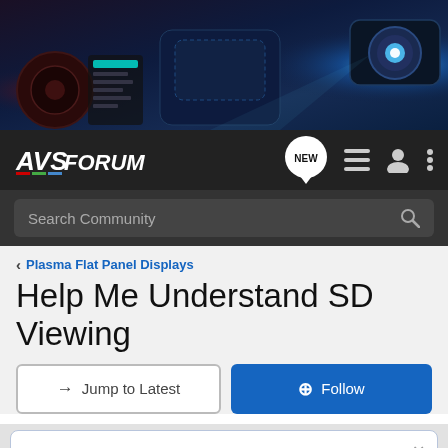[Figure (photo): Dark banner image showing home theater equipment: speakers, recliner seats, and a projector with blue lighting.]
AVS FORUM — navigation bar with NEW badge, hamburger menu, user icon, and dots menu
Search Community
< Plasma Flat Panel Displays
Help Me Understand SD Viewing
→ Jump to Latest
+ Follow
LIVE: Tech Talk Podcast with Scott Wilkinson, Episode 9 Click here for details.